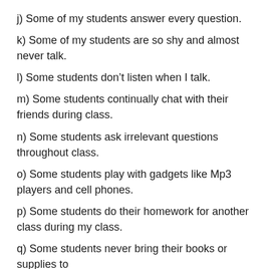j) Some of my students answer every question.
k) Some of my students are so shy and almost never talk.
l) Some students don't listen when I talk.
m) Some students continually chat with their friends during class.
n) Some students ask irrelevant questions throughout class.
o) Some students play with gadgets like Mp3 players and cell phones.
p) Some students do their homework for another class during my class.
q) Some students never bring their books or supplies to